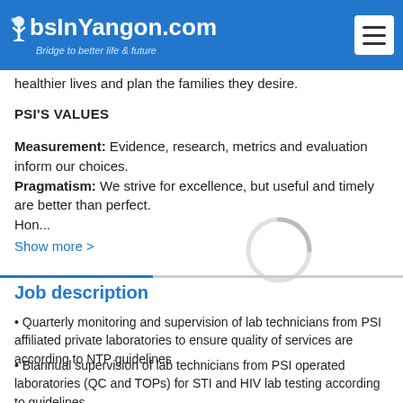JobsInYangon.com – Bridge to better life & future
healthier lives and plan the families they desire.
PSI'S VALUES
Measurement: Evidence, research, metrics and evaluation inform our choices.
Pragmatism: We strive for excellence, but useful and timely are better than perfect.
Hon...
Show more >
[Figure (other): Loading spinner overlay]
Job description
• Quarterly monitoring and supervision of lab technicians from PSI affiliated private laboratories to ensure quality of services are according to NTP guidelines
• Biannual supervision of lab technicians from PSI operated laboratories (QC and TOPs) for STI and HIV lab testing according to guidelines
• Conduct annual monitoring vis...